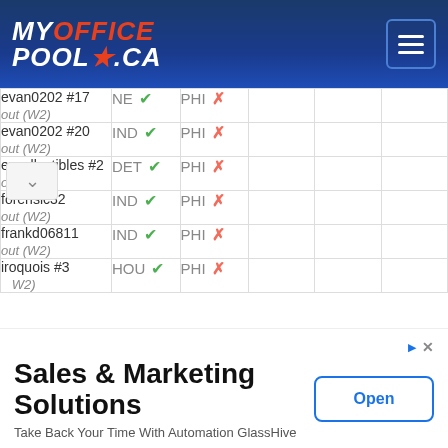MyOfficePool.ca
| User | Pick 1 | Pick 2 |  |  |  |
| --- | --- | --- | --- | --- | --- |
| evan0202 #17
out (W2) | NE ✓ | PHI ✗ |  |  |  |
| evan0202 #20
out (W2) | IND ✓ | PHI ✗ |  |  |  |
| ezcollectibles #2
out (W2) | DET ✓ | PHI ✗ |  |  |  |
| forensic32
out (W2) | IND ✓ | PHI ✗ |  |  |  |
| frankd06811
out (W2) | IND ✓ | PHI ✗ |  |  |  |
| iroquois #3
out (W2) | HOU ✓ | PHI ✗ |  |  |  |
[Figure (screenshot): Advertisement banner: Sales & Marketing Solutions - Take Back Your Time With Automation GlassHive, with Open button]